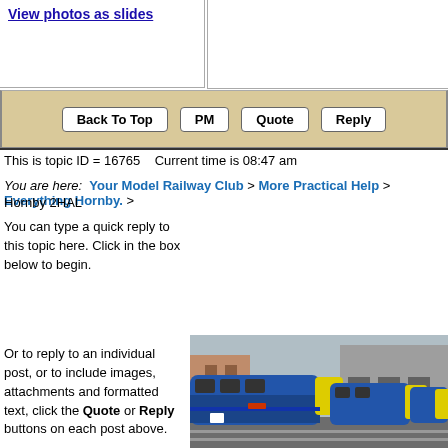View photos as slides
Back To Top  PM  Quote  Reply
This is topic ID = 16765    Current time is 08:47 am
You are here:  Your Model Railway Club > More Practical Help > Everything Hornby. > Hornby 2HAL
You can type a quick reply to this topic here. Click in the box below to begin.
Or to reply to an individual post, or to include images, attachments and formatted text, click the Quote or Reply buttons on each post above.
[Figure (photo): Photo of model railway locomotives, blue diesel engines with yellow fronts on a model railway layout with buildings in background]